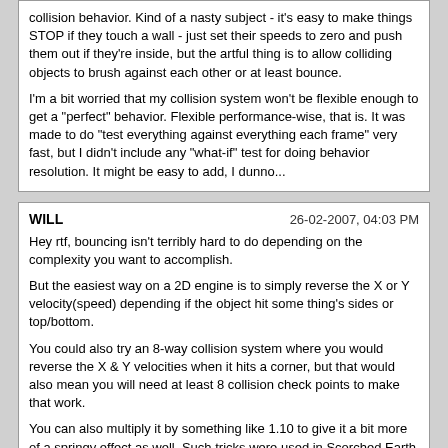collision behavior. Kind of a nasty subject - it's easy to make things STOP if they touch a wall - just set their speeds to zero and push them out if they're inside, but the artful thing is to allow colliding objects to brush against each other or at least bounce.

I'm a bit worried that my collision system won't be flexible enough to get a "perfect" behavior. Flexible performance-wise, that is. It was made to do "test everything against everything each frame" very fast, but I didn't include any "what-if" test for doing behavior resolution. It might be easy to add, I dunno...
WILL | 26-02-2007, 04:03 PM

Hey rtf, bouncing isn't terribly hard to do depending on the complexity you want to accomplish.

But the easiest way on a 2D engine is to simply reverse the X or Y velocity(speed) depending if the object hit some thing's sides or top/bottom.

You could also try an 8-way collision system where you would reverse the X & Y velocities when it hits a corner, but that would also mean you will need at least 8 collision check points to make that work.

You can also multiply it by something like 1.10 to give it a bit more of a springy effect as well. Such tricks were used in Scorched Earth for the different wall physics.

More detailed then that, as in hitting a round object for instance, may require a bit of trig to do.
rtf | 26-02-2007, 11:25 PM

You've left out corner cases, and that's where the difficulty is:

-if an object is "squeezed" between two other objects and collides with both, a simple forceout/reverse-direction may cause the squeezed object to get stuck or advance very slowly in the wrong direction.